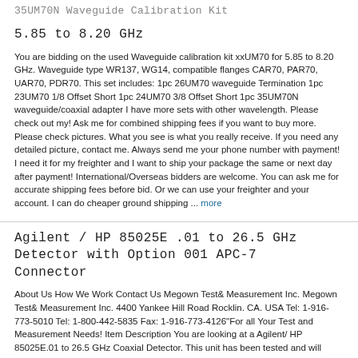35UM70N Waveguide Calibration Kit
5.85 to 8.20 GHz
You are bidding on the used Waveguide calibration kit xxUM70 for 5.85 to 8.20 GHz. Waveguide type WR137, WG14, compatible flanges CAR70, PAR70, UAR70, PDR70. This set includes: 1pc 26UM70 waveguide Termination 1pc 23UM70 1/8 Offset Short 1pc 24UM70 3/8 Offset Short 1pc 35UM70N waveguide/coaxial adapter I have more sets with other wavelength. Please check out my! Ask me for combined shipping fees if you want to buy more. Please check pictures. What you see is what you really receive. If you need any detailed picture, contact me. Always send me your phone number with payment! I need it for my freighter and I want to ship your package the same or next day after payment! International/Overseas bidders are welcome. You can ask me for accurate shipping fees before bid. Or we can use your freighter and your account. I can do cheaper ground shipping ... more
Agilent / HP 85025E .01 to 26.5 GHz Detector with Option 001 APC-7 Connector
About Us How We Work Contact Us Megown Test& Measurement Inc. Megown Test& Measurement Inc. 4400 Yankee Hill Road Rocklin. CA. USA Tel: 1-916-773-5010 Tel: 1-800-442-5835 Fax: 1-916-773-4126"For all Your Test and Measurement Needs! Item Description You are looking at a Agilent/ HP 85025E.01 to 26.5 GHz Coaxial Detector. This unit has been tested and will come with a 30 day Warranty. With this unit you will receive a DVD manual no other accessories are included. Cosmetics: Scratches here and there Very clean unit Specifications: Agilent/ HP Model# 85025E Serial# 00329/ Asset# 235543 10 MHz to 26.5 GHz